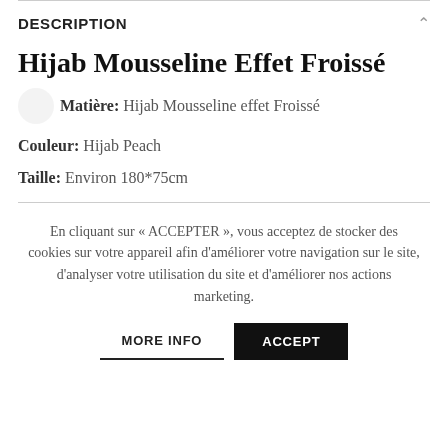DESCRIPTION
Hijab Mousseline Effet Froissé
Matière: Hijab Mousseline effet Froissé
Couleur: Hijab Peach
Taille: Environ 180*75cm
En cliquant sur « ACCEPTER », vous acceptez de stocker des cookies sur votre appareil afin d'améliorer votre navigation sur le site, d'analyser votre utilisation du site et d'améliorer nos actions marketing.
MORE INFO
ACCEPT